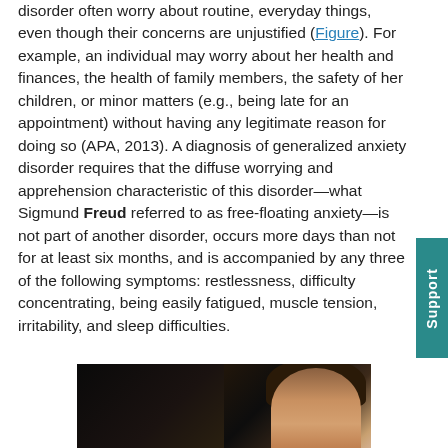disorder often worry about routine, everyday things, even though their concerns are unjustified (Figure). For example, an individual may worry about her health and finances, the health of family members, the safety of her children, or minor matters (e.g., being late for an appointment) without having any legitimate reason for doing so (APA, 2013). A diagnosis of generalized anxiety disorder requires that the diffuse worrying and apprehension characteristic of this disorder—what Sigmund Freud referred to as free-floating anxiety—is not part of another disorder, occurs more days than not for at least six months, and is accompanied by any three of the following symptoms: restlessness, difficulty concentrating, being easily fatigued, muscle tension, irritability, and sleep difficulties.
[Figure (photo): Close-up photo of a woman with dark hair, appearing worried or anxious, with a dark background]